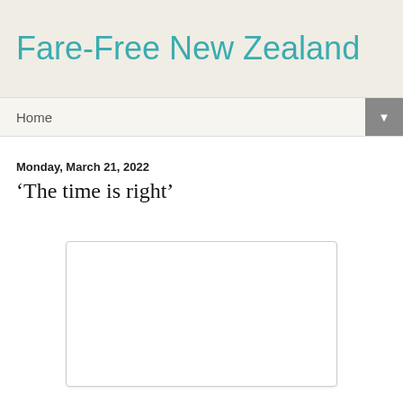Fare-Free New Zealand
Home
Monday, March 21, 2022
‘The time is right’
[Figure (other): Blank white image placeholder with light grey border]